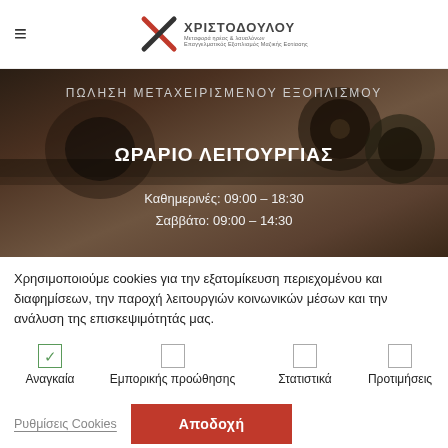[Figure (logo): Christodoulou company logo with stylized X and Greek text]
[Figure (photo): Dark hero image of vintage equipment with Greek text overlay: ΠΩΛΗΣΗ ΜΕΤΑΧΕΙΡΙΣΜΕΝΟΥ ΕΞΟΠΛΙΣΜΟΥ, ΩΡΑΡΙΟ ΛΕΙΤΟΥΡΓΙΑΣ, Καθημερινές: 09:00 – 18:30, Σαββάτο: 09:00 – 14:30]
Χρησιμοποιούμε cookies για την εξατομίκευση περιεχομένου και διαφημίσεων, την παροχή λειτουργιών κοινωνικών μέσων και την ανάλυση της επισκεψιμότητάς μας.
Αναγκαία
Εμπορικής προώθησης
Στατιστικά
Προτιμήσεις
Ρυθμίσεις Cookies
Αποδοχή